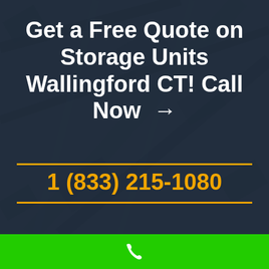Get a Free Quote on Storage Units Wallingford CT! Call Now →
1 (833) 215-1080
[Figure (illustration): Green bar with white phone icon at bottom of image]